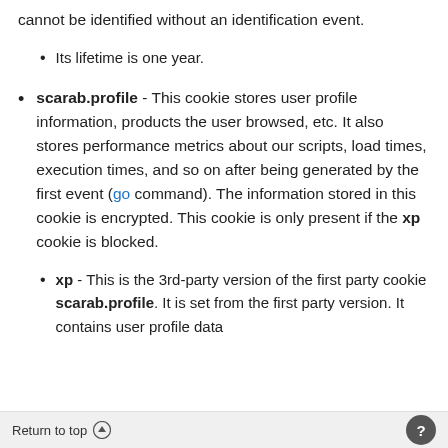cannot be identified without an identification event.
Its lifetime is one year.
scarab.profile - This cookie stores user profile information, products the user browsed, etc. It also stores performance metrics about our scripts, load times, execution times, and so on after being generated by the first event (go command). The information stored in this cookie is encrypted. This cookie is only present if the xp cookie is blocked.
xp - This is the 3rd-party version of the first party cookie scarab.profile. It is set from the first party version. It contains user profile data
Return to top